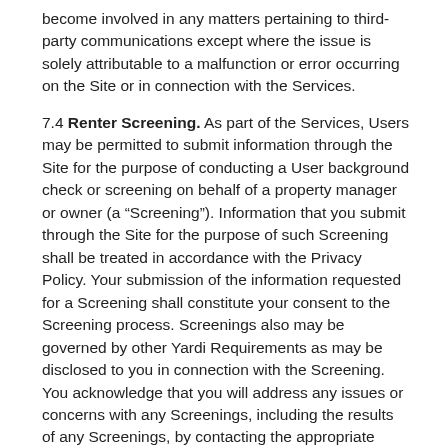become involved in any matters pertaining to third-party communications except where the issue is solely attributable to a malfunction or error occurring on the Site or in connection with the Services.
7.4 Renter Screening. As part of the Services, Users may be permitted to submit information through the Site for the purpose of conducting a User background check or screening on behalf of a property manager or owner (a “Screening”). Information that you submit through the Site for the purpose of such Screening shall be treated in accordance with the Privacy Policy. Your submission of the information requested for a Screening shall constitute your consent to the Screening process. Screenings also may be governed by other Yardi Requirements as may be disclosed to you in connection with the Screening. You acknowledge that you will address any issues or concerns with any Screenings, including the results of any Screenings, by contacting the appropriate property manager or owner, or as otherwise permitted under the Yardi Requirements applicable to the Screening or as otherwise required by law. Yardi shall not become involved in Screening related issues except where the issue is solely attributable to a malfunction or error occurring on the Site or in connection with the Services or as otherwise